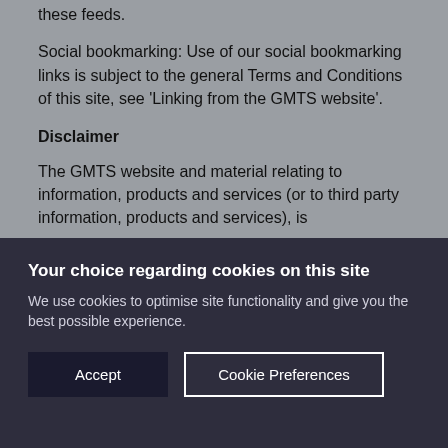these feeds.
Social bookmarking: Use of our social bookmarking links is subject to the general Terms and Conditions of this site, see ‘Linking from the GMTS website’.
Disclaimer
The GMTS website and material relating to information, products and services (or to third party information, products and services), is
Your choice regarding cookies on this site
We use cookies to optimise site functionality and give you the best possible experience.
Accept
Cookie Preferences